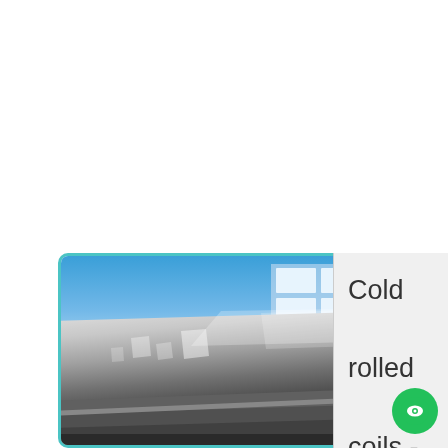[Figure (photo): Photo of stacked cold rolled steel coils/sheets in an industrial warehouse with blue sky background visible through windows. Steel surface shows reflective highlights.]
Cold rolled coils -